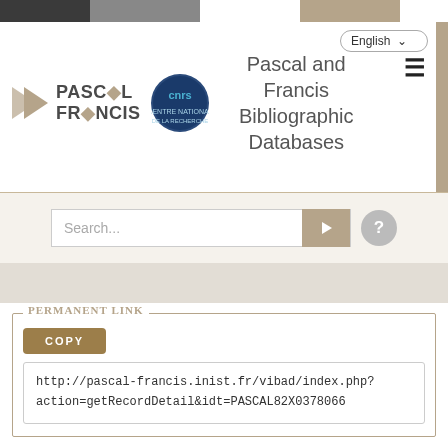[Figure (logo): Pascal and Francis Bibliographic Databases logo with CNRS badge and header navigation]
Search...
Permanent Link
COPY
http://pascal-francis.inist.fr/vibad/index.php?action=getRecordDetail&idt=PASCAL82X0378066